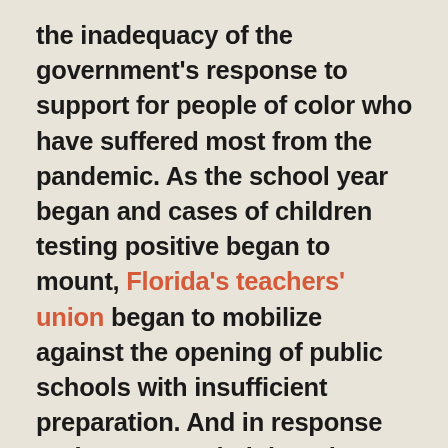the inadequacy of the government's response to support for people of color who have suffered most from the pandemic. As the school year began and cases of children testing positive began to mount, Florida's teachers' union began to mobilize against the opening of public schools with insufficient preparation. And in response to the Trump administration's attempts to throttle the post offices just as early voting is set to begin, at least 12 professional sports teams from the worlds of baseball, basketball, football and hockey are offering their stadiums as places that can provide rapid, safe and socially distanced voting.